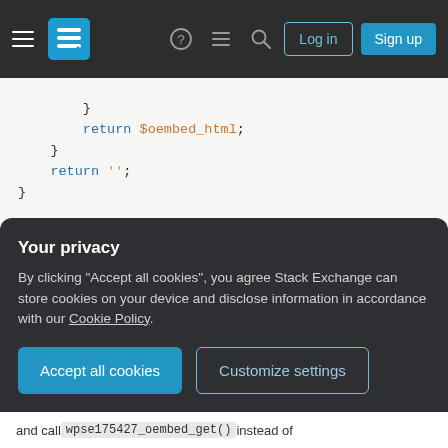Stack Exchange navigation bar with hamburger menu, logo, icons, Log in and Sign up buttons
[Figure (screenshot): Code snippet in a light gray background showing PHP code with syntax highlighting: return $oembed_html; return ''; closing braces; comment '// Helper to stringify args array (for tran'; function wpse175427_reduce_array( $arr ) { $ret = array(); foreach ( $arr as $key => $val ) { $ret[] = '`' . $key . '`=`' . $val; } return implode( ',', $ret ); }]
Your privacy
By clicking "Accept all cookies", you agree Stack Exchange can store cookies on your device and disclose information in accordance with our Cookie Policy.
Accept all cookies
Customize settings
and call wpse175427_oembed_get() instead of